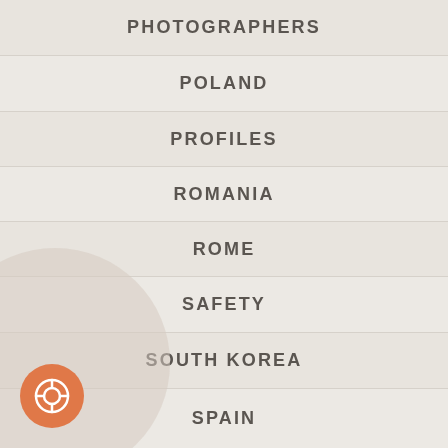PHOTOGRAPHERS
POLAND
PROFILES
ROMANIA
ROME
SAFETY
SOUTH KOREA
SPAIN
[Figure (illustration): Decorative circular shape in lower left background, muted beige/cream color]
[Figure (illustration): Orange circular help/lifesaver button icon in bottom left corner]